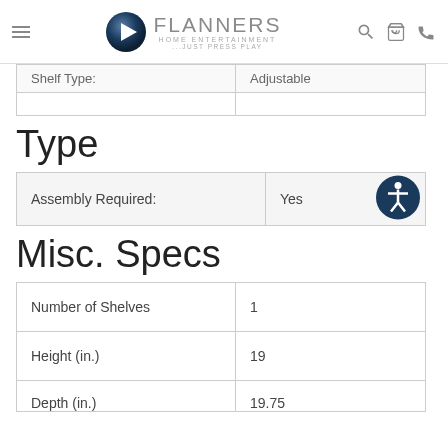Flanners Home Entertainment — ...Just Press Play
| Shelf Type: | Adjustable |
| --- | --- |
| Shelf Type: | Adjustable |
Type
| Assembly Required: | Yes |
| --- | --- |
| Assembly Required: | Yes |
Misc. Specs
|  |  |
| --- | --- |
| Number of Shelves | 1 |
| Height (in.) | 19 |
| Depth (in.) | 19.75 |